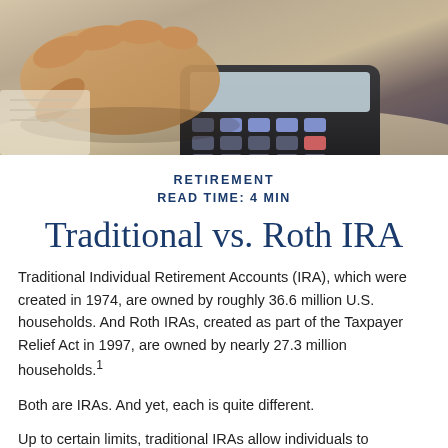[Figure (photo): Close-up photo of a hand using a calculator on a desk]
RETIREMENT
READ TIME: 4 MIN
Traditional vs. Roth IRA
Traditional Individual Retirement Accounts (IRA), which were created in 1974, are owned by roughly 36.6 million U.S. households. And Roth IRAs, created as part of the Taxpayer Relief Act in 1997, are owned by nearly 27.3 million households.¹
Both are IRAs. And yet, each is quite different.
Up to certain limits, traditional IRAs allow individuals to